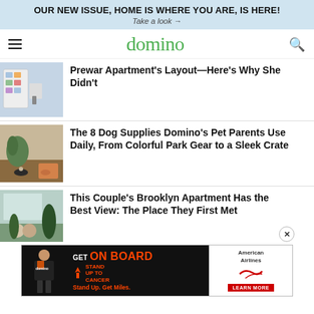OUR NEW ISSUE, HOME IS WHERE YOU ARE, IS HERE!
Take a look →
domino
Prewar Apartment's Layout—Here's Why She Didn't
The 8 Dog Supplies Domino's Pet Parents Use Daily, From Colorful Park Gear to a Sleek Crate
This Couple's Brooklyn Apartment Has the Best View: The Place They First Met
[Figure (screenshot): Advertisement banner: GET ON BOARD Stand Up. Get Miles. — Stand Up To Cancer / American Airlines, LEARN MORE]